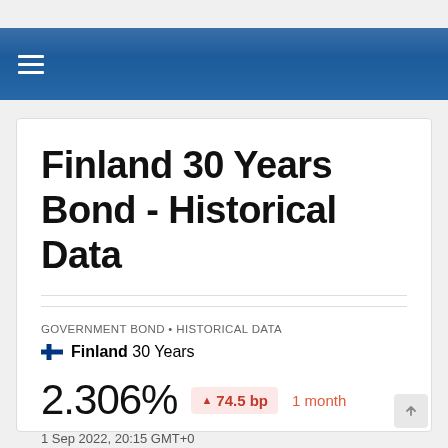≡
Finland 30 Years Bond - Historical Data
GOVERNMENT BOND • HISTORICAL DATA
Finland 30 Years
2.306%  ▲ 74.5 bp  1 month
1 Sep 2022, 20:15 GMT+0